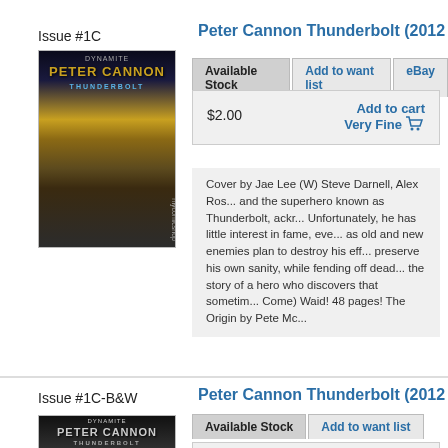Issue #1C
[Figure (photo): Comic book cover for Peter Cannon Thunderbolt Issue #1C showing a shirtless fighter with a punching bag]
Peter Cannon Thunderbolt (2012 Dyna...
| Available Stock | Add to want list | eBay... |
| --- | --- | --- |
| $2.00 | Add to cart / Very Fine |
| --- | --- |
Cover by Jae Lee (W) Steve Darnell, Alex Ros... and the superhero known as Thunderbolt, ackr... Unfortunately, he has little interest in fame, eve... as old and new enemies plan to destroy his eff... preserve his own sanity, while fending off dead... the story of a hero who discovers that sometim... Come) Waid! 48 pages! The Origin by Pete Mc...
Issue #1C-B&W
[Figure (photo): Comic book cover for Peter Cannon Thunderbolt Issue #1C-B&W in black and white]
Peter Cannon Thunderbolt (2012 Dyna...
| Available Stock | Add to want list |
| --- | --- |
| $2.00 | Add to cart | $2.00 |
| --- | --- | --- |
|  | Fine |  |